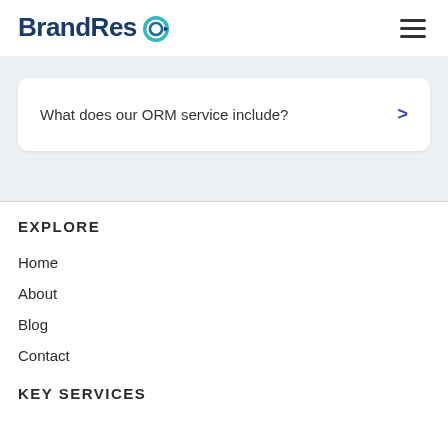BrandResQ
What does our ORM service include?
EXPLORE
Home
About
Blog
Contact
KEY SERVICES